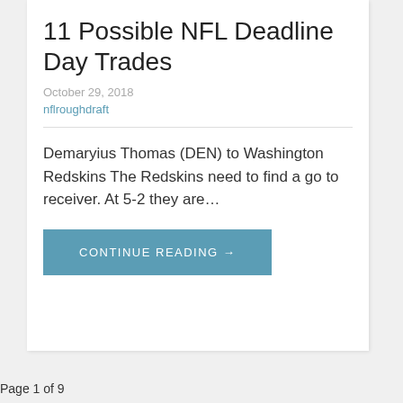11 Possible NFL Deadline Day Trades
October 29, 2018
nflroughdraft
Demaryius Thomas (DEN) to Washington Redskins The Redskins need to find a go to receiver. At 5-2 they are…
CONTINUE READING →
Page 1 of 9